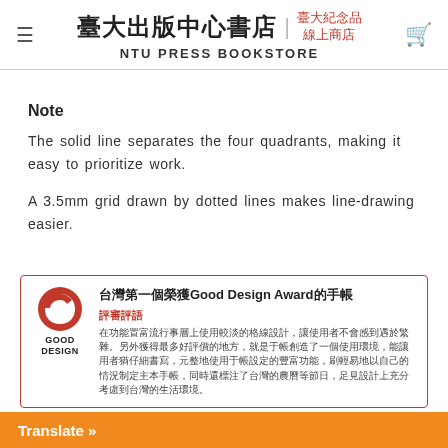臺大出版中心書店 NTU PRESS BOOKSTORE | 臺大紀念品 線上商店
Note
The solid line separates the four quadrants, making it easy to prioritize work.
A 3.5mm grid drawn by dotted lines makes line-drawing easier.
[Figure (infographic): Good Design Award promotional box in Chinese featuring the Good Design Award logo (red G-shaped icon), title '台灣第一個榮獲Good Design Award的手帳', subtitle '評審評語', and Chinese descriptive text about the design.]